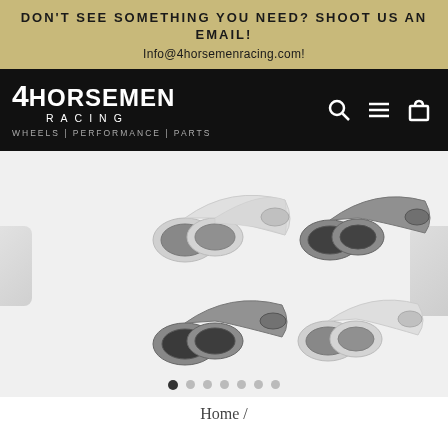DON'T SEE SOMETHING YOU NEED? SHOOT US AN EMAIL! Info@4horsemenracing.com!
[Figure (logo): 4 Horsemen Racing logo — white text on black background, with tagline WHEELS | PERFORMANCE | PARTS]
[Figure (photo): Product carousel showing four exhaust tip products (polished and dark matte dual exhaust tips) in a 2x2 grid on light gray background, with partial items visible at edges]
Home /